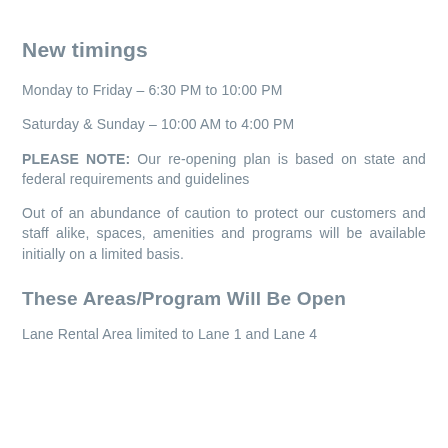New timings
Monday to Friday – 6:30 PM to 10:00 PM
Saturday & Sunday – 10:00 AM to 4:00 PM
PLEASE NOTE: Our re-opening plan is based on state and federal requirements and guidelines
Out of an abundance of caution to protect our customers and staff alike, spaces, amenities and programs will be available initially on a limited basis.
These Areas/Program Will Be Open
Lane Rental Area limited to Lane 1 and Lane 4